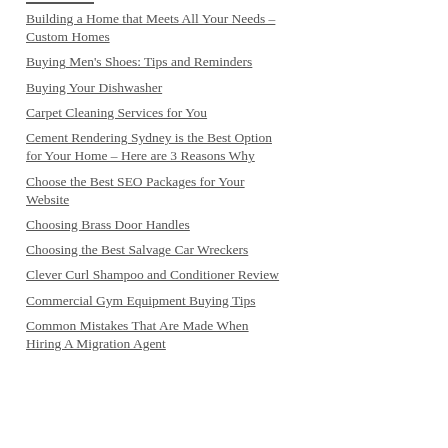Building a Home that Meets All Your Needs – Custom Homes
Buying Men's Shoes: Tips and Reminders
Buying Your Dishwasher
Carpet Cleaning Services for You
Cement Rendering Sydney is the Best Option for Your Home – Here are 3 Reasons Why
Choose the Best SEO Packages for Your Website
Choosing Brass Door Handles
Choosing the Best Salvage Car Wreckers
Clever Curl Shampoo and Conditioner Review
Commercial Gym Equipment Buying Tips
Common Mistakes That Are Made When Hiring A Migration Agent